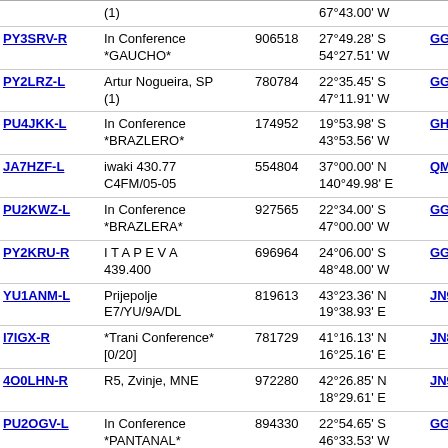| Callsign | Location | Number | Coordinates | Grid | Dist |
| --- | --- | --- | --- | --- | --- |
|  | (1) |  | 67°43.00' W |  |  |
| PY3SRV-R | In Conference *GAUCHO* | 906518 | 27°49.28' S 54°27.51' W | GG22se | 5693.7 |
| PY2LRZ-L | Artur Nogueira, SP (1) | 780784 | 22°35.45' S 47°11.91' W | GG67jj | 5694.0 |
| PU4JKK-L | In Conference *BRAZLERO* | 174952 | 19°53.98' S 43°53.56' W | GH80bc | 5695.9 |
| JA7HZF-L | iwaki 430.77 C4FM/05-05 | 554804 | 37°00.00' N 140°49.98' E | QM07ja | 5696.7 |
| PU2KWZ-L | In Conference *BRAZLERA* | 927565 | 22°34.00' S 47°00.00' W | GG67mk | 5701.0 |
| PY2KRU-R | I T A P E V A 439.400 | 696964 | 24°06.00' S 48°48.00' W | GG55ov | 5708.2 |
| YU1ANM-L | Prijepolje E7/YU/9A/DL | 819613 | 43°23.36' N 19°38.93' E | JN93tj | 5715.1 |
| I7IGX-R | *Trani Conference* [0/20] | 781729 | 41°16.13' N 16°25.16' E | JN81fg | 5719.3 |
| 4O0LHN-R | R5, Zvinje, MNE | 972280 | 42°26.85' N 18°29.61' E | JN92fk | 5727.5 |
| PU2OGV-L | In Conference *PANTANAL* | 894330 | 22°54.65' S 46°33.53' W | GG67rc | 5737.4 |
| JG1YJA-R | Ibaraki,JAPAN | 992018 | 36°22.43' N 140°33.84' E | QM06gi | 5738.0 1 |
| PU5RGD-L | In Conference *PAMPA-RS* | 987610 | 25°42.70' S 50°10.51' W | GG44vg | 5739.8 |
| JP7FBC-L | In Conference | 736726 | 36°26.00' N | QM06ek | 5741.5 |